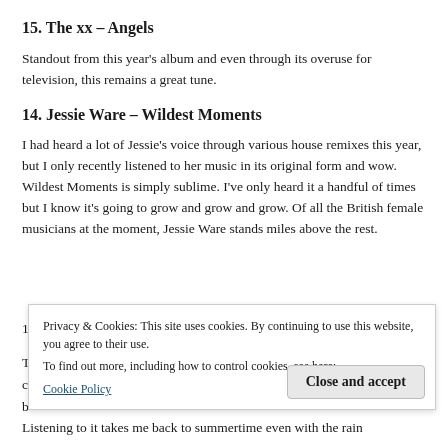15. The xx – Angels
Standout from this year's album and even through its overuse for television, this remains a great tune.
14. Jessie Ware – Wildest Moments
I had heard a lot of Jessie's voice through various house remixes this year, but I only recently listened to her music in its original form and wow. Wildest Moments is simply sublime. I've only heard it a handful of times but I know it's going to grow and grow and grow. Of all the British female musicians at the moment, Jessie Ware stands miles above the rest.
Privacy & Cookies: This site uses cookies. By continuing to use this website, you agree to their use.
To find out more, including how to control cookies, see here:
Cookie Policy
Listening to it takes me back to summertime even with the rain